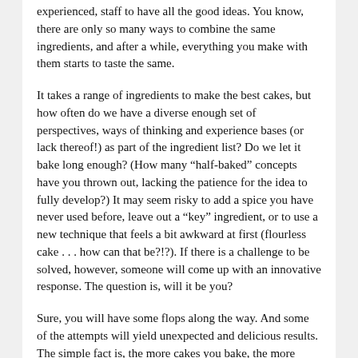experienced, staff to have all the good ideas. You know, there are only so many ways to combine the same ingredients, and after a while, everything you make with them starts to taste the same.
It takes a range of ingredients to make the best cakes, but how often do we have a diverse enough set of perspectives, ways of thinking and experience bases (or lack thereof!) as part of the ingredient list? Do we let it bake long enough? (How many “half-baked” concepts have you thrown out, lacking the patience for the idea to fully develop?) It may seem risky to add a spice you have never used before, leave out a “key” ingredient, or to use a new technique that feels a bit awkward at first (flourless cake . . . how can that be?!?). If there is a challenge to be solved, however, someone will come up with an innovative response. The question is, will it be you?
Sure, you will have some flops along the way. And some of the attempts will yield unexpected and delicious results. The simple fact is, the more cakes you bake, the more